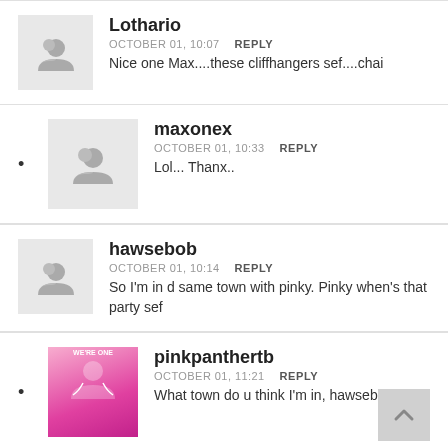Lothario
OCTOBER 01, 10:07  REPLY
Nice one Max....these cliffhangers sef....chai
maxonex
OCTOBER 01, 10:33  REPLY
Lol... Thanx..
hawsebob
OCTOBER 01, 10:14  REPLY
So I'm in d same town with pinky. Pinky when's that party sef
pinkpanthertb
OCTOBER 01, 11:21  REPLY
What town do u think I'm in, hawseb
king